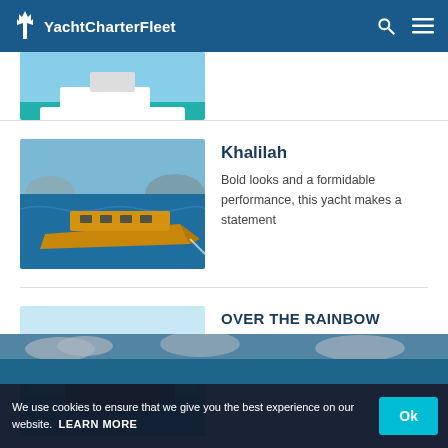YachtCharterFleet
[Figure (photo): Partial view of a large white yacht on turquoise water, cropped at top]
Khalilah
Bold looks and a formidable performance, this yacht makes a statement
[Figure (photo): Gold/orange modern yacht on blue ocean water, aerial view]
OVER THE RAINBOW
A classic gentleman's yacht of the 1930's
[Figure (photo): Classic wooden yacht on shallow turquoise water near a reef, aerial view]
SEE ALL REVIEWS
[Figure (photo): Partial blue sky/water banner image at bottom]
We use cookies to ensure that we give you the best experience on our website. LEARN MORE